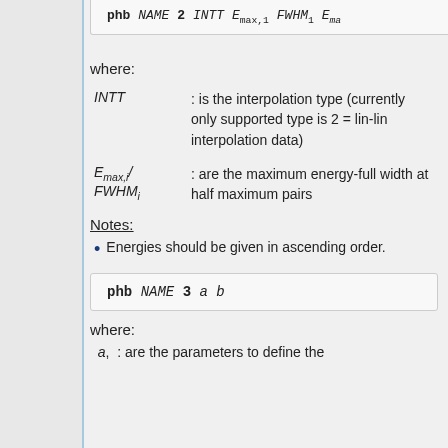phb NAME 2 INTT E_max,1 FWHM_1 E_ma...
where:
INTT : is the interpolation type (currently only supported type is 2 = lin-lin interpolation data)
E_max,i/ FWHM_i : are the maximum energy-full width at half maximum pairs
Notes:
Energies should be given in ascending order.
phb NAME 3 a b
where:
a,  : are the parameters to define the